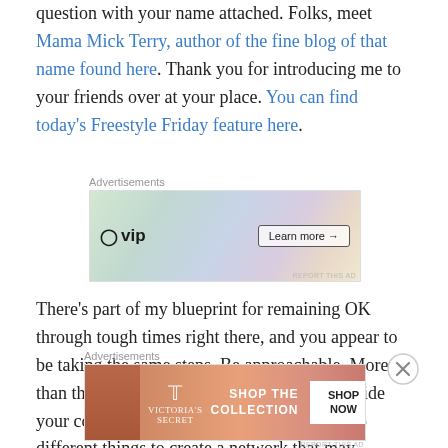question with your name attached. Folks, meet Mama Mick Terry, author of the fine blog of that name found here. Thank you for introducing me to your friends over at your place. You can find today's Freestyle Friday feature here.
[Figure (screenshot): WordPress VIP advertisement banner with colorful background and 'Learn more' button]
There's part of my blueprint for remaining OK through tough times right there, and you appear to be taking the same steps. Be approachable. More than that, be outgoing. Be ready to reach outside your comfort zone to meet new people and do different things to create a network that may benefit you in ways that you can't even
[Figure (screenshot): Victoria's Secret advertisement banner with pink background, model, and 'SHOP NOW' button]